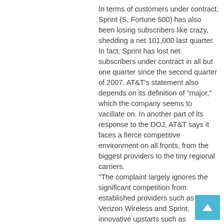In terms of customers under contract, Sprint (S, Fortune 500) has also been losing subscribers like crazy, shedding a net 101,000 last quarter. In fact, Sprint has lost net subscribers under contract in all but one quarter since the second quarter of 2007. AT&T's statement also depends on its definition of "major," which the company seems to vacillate on. In another part of its response to the DOJ, AT&T says it faces a fierce competitive environment on all fronts, from the biggest providers to the tiny regional carriers.
"The complaint largely ignores the significant competition from established providers such as Verizon Wireless and Sprint, innovative upstarts such as MetroPCS (PCS) and Leap/Cricket, and strong regional providers like US Cellular and Cellular South, among others," AT&T says of the DOJ's protest.
If those companies are real rivals, as AT&T claims, it's important to note that on a net basis, U.S. Cellular has lost customers for five straight quarters and Leap Wireless (LEAP) also shed more customers than it gained last quarter.
A spokesman for AT&T declined to comment for this story, saying he would let the filing "speak for itself."